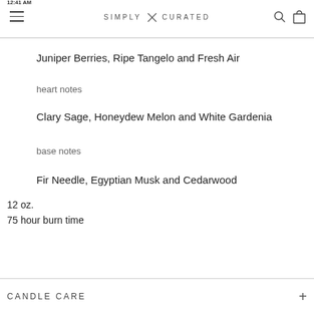SIMPLY CURATED
Juniper Berries, Ripe Tangelo and Fresh Air
heart notes
Clary Sage, Honeydew Melon and White Gardenia
base notes
Fir Needle, Egyptian Musk and Cedarwood
12 oz.
75 hour burn time
CANDLE CARE